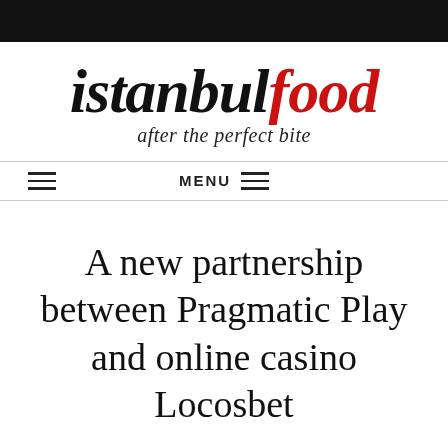[Figure (logo): istanbulfood logo — 'istanbul' in bold black italic serif, 'food' in bold red italic serif, with tagline 'after the perfect bite' in italic below]
MENU
A new partnership between Pragmatic Play and online casino Locosbet